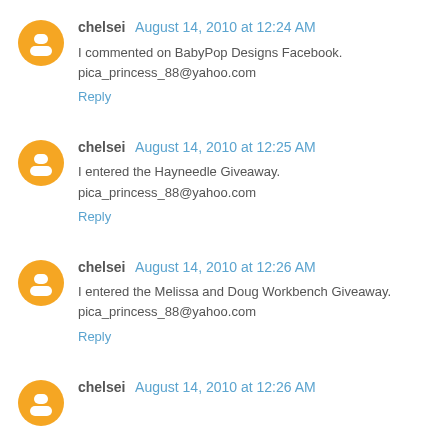chelsei August 14, 2010 at 12:24 AM
I commented on BabyPop Designs Facebook.
pica_princess_88@yahoo.com
Reply
chelsei August 14, 2010 at 12:25 AM
I entered the Hayneedle Giveaway.
pica_princess_88@yahoo.com
Reply
chelsei August 14, 2010 at 12:26 AM
I entered the Melissa and Doug Workbench Giveaway.
pica_princess_88@yahoo.com
Reply
chelsei August 14, 2010 at 12:26 AM